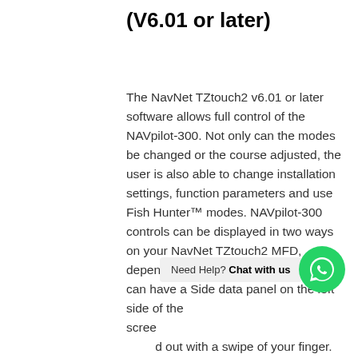(V6.01 or later)
The NavNet TZtouch2 v6.01 or later software allows full control of the NAVpilot-300. Not only can the modes be changed or the course adjusted, the user is also able to change installation settings, function parameters and use Fish Hunter™ modes. NAVpilot-300 controls can be displayed in two ways on your NavNet TZtouch2 MFD, depending on your preference. You can have a Side data panel on the left side of the screen that can be slid out with a swipe of your finger. This is perfect when you want to use a full or two-way split screen for other functions. The other option is to
[Figure (other): WhatsApp 'Need Help? Chat with us' overlay button with green WhatsApp icon]